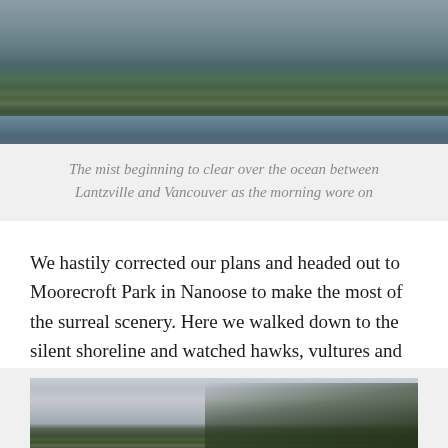[Figure (photo): A misty coastal landscape showing a forested island or headland across water, with trees visible through fog and water in the foreground]
The mist beginning to clear over the ocean between Lantzville and Vancouver as the morning wore on
We hastily corrected our plans and headed out to Moorecroft Park in Nanoose to make the most of the surreal scenery. Here we walked down to the silent shoreline and watched hawks, vultures and cormorants whilst the mist rolled down the wooded hillside to reach the sea.
[Figure (photo): A misty landscape with trees silhouetted against a pale sky, similar coastal scene]